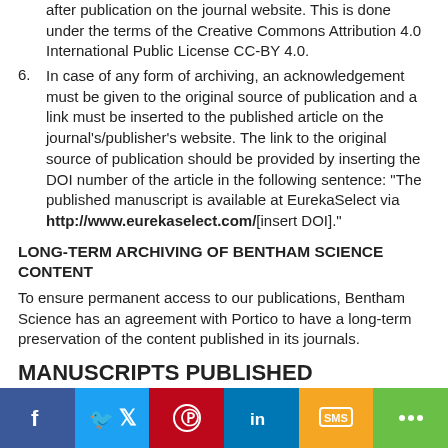after publication on the journal website. This is done under the terms of the Creative Commons Attribution 4.0 International Public License CC-BY 4.0.
In case of any form of archiving, an acknowledgement must be given to the original source of publication and a link must be inserted to the published article on the journal's/publisher's website. The link to the original source of publication should be provided by inserting the DOI number of the article in the following sentence: "The published manuscript is available at EurekaSelect via http://www.eurekaselect.com/[insert DOI]."
LONG-TERM ARCHIVING OF BENTHAM SCIENCE CONTENT
To ensure permanent access to our publications, Bentham Science has an agreement with Portico to have a long-term preservation of the content published in its journals.
MANUSCRIPTS PUBLISHED
The journal publishes peer reviewed full-length / mini-review articles, research articles and short